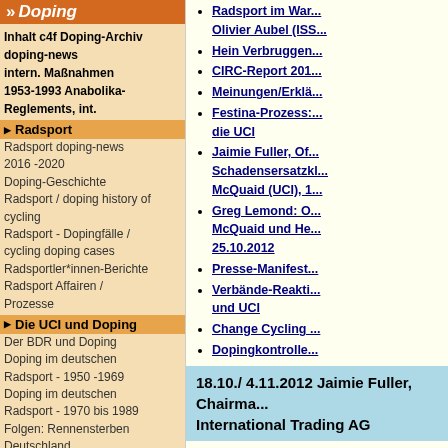» Doping
Inhalt c4f Doping-Archiv doping-news intern. Maßnahmen 1953-1993 Anabolika-Reglements, int.
Radsport
Radsport doping-news 2016 -2020
Doping-Geschichte
Radsport / doping history of cycling
Radsport - Dopingfälle / cycling doping cases
Radsportler*innen-Berichte
Radsport Affairen / Prozesse
Die UCI und Doping
Der BDR und Doping
Doping im deutschen Radsport - 1950 -1969
Doping im deutschen Radsport - 1970 bis 1989
Folgen: Rennensterben Deutschland
Doping im Radsport - Erfahrungen, Meinungen
Reglements, Ethikcodes
Fußball Deutschland Doping - Geschichte(n) Dossier: deutsche Antidoping - Gesetzgebung
Radsport im War... Olivier Aubel (ISS...
Hein Verbruggen...
CIRC-Report 201...
Meinungen/Erklä...
Festina-Prozess:... die UCI
Jaimie Fuller, Of... Schadensersatzkl... McQuaid (UCI), 1...
Greg Lemond: O... McQuaid und He... 25.10.2012
Presse-Manifest...
Verbände-Reakti... und UCI
Change Cycling ...
Dopingkontrolle...
18.10./ 4.11.2012 Jaimie Fuller, Chairman... International Trading AG
Jaimie Fuller, Chairman der SKINS International Trading AG, 5 Jahre u.a. Sponsor des Teams Rabobank und des Australischen